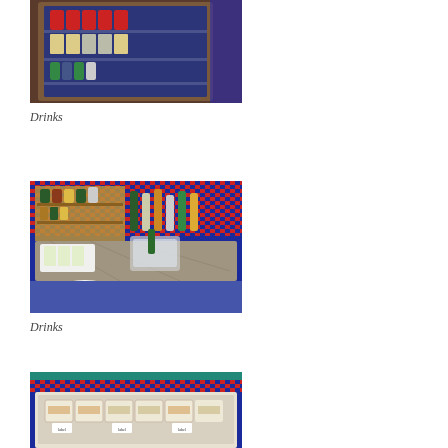[Figure (photo): Glass-door refrigerator stocked with canned beverages and drinks, illuminated with blue light inside a lounge]
Drinks
[Figure (photo): Bar counter with bottles of wine and spirits on wooden shelves, marble countertop with ice bucket and glasses, mosaic tile wall in background]
Drinks
[Figure (photo): Display case showing wrapped sandwiches with label signs in a lounge food area, mosaic tile wall in background]